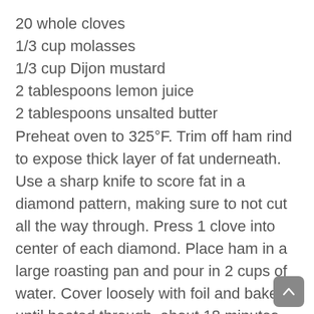20 whole cloves
1/3 cup molasses
1/3 cup Dijon mustard
2 tablespoons lemon juice
2 tablespoons unsalted butter
Preheat oven to 325°F. Trim off ham rind to expose thick layer of fat underneath. Use a sharp knife to score fat in a diamond pattern, making sure to not cut all the way through. Press 1 clove into center of each diamond. Place ham in a large roasting pan and pour in 2 cups of water. Cover loosely with foil and bake until heated through, about 18 minutes per pound (2 hours 25 minutes for an 8-lb. ham).
Make glaze: Combine molasses, mustard, lemon juice